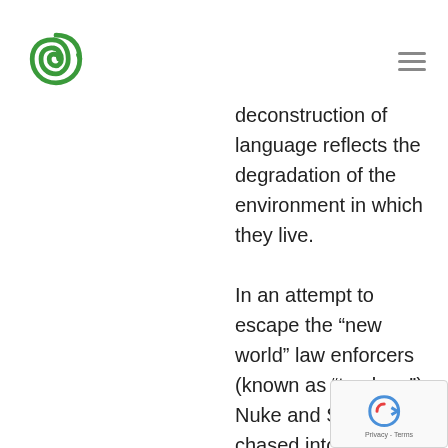[Logo: green spiral] [hamburger menu icon]
deconstruction of language reflects the degradation of the environment in which they live.
In an attempt to escape the “new world” law enforcers (known as “trackers”), Nuke and Stryder are chased into a toxic waste dump filled with relics of the